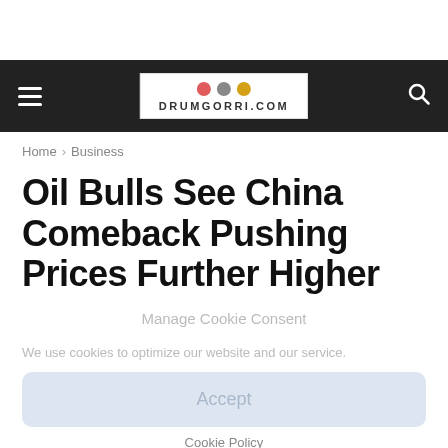DRUMGORRI.COM
Home › Business
Oil Bulls See China Comeback Pushing Prices Further Higher
Manage Cookie Consent
We use cookies to optimize our website and our service.
Accept
Cookie Policy